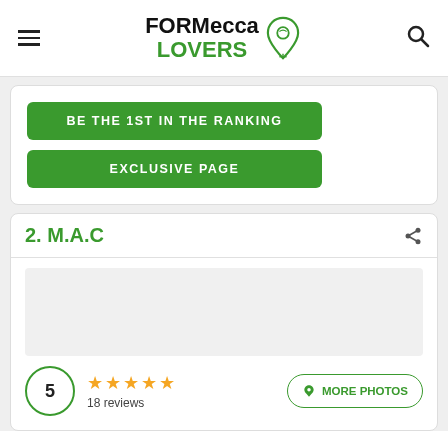FORMecca LOVERS
BE THE 1ST IN THE RANKING
EXCLUSIVE PAGE
2. M.A.C
[Figure (photo): Photo placeholder for M.A.C]
5 ★★★★★ 18 reviews   MORE PHOTOS